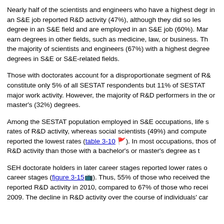Nearly half of the scientists and engineers who have a highest degree in an S&E job reported R&D activity (47%), although they did so less than those who have a degree in an S&E field and are employed in an S&E job (60%). Many scientists and engineers earn degrees in other fields, such as medicine, law, or business. The data also reveal that the majority of scientists and engineers (67%) with a highest degree have their highest degrees in S&E or S&E-related fields.
Those with doctorates account for a disproportionate segment of R&D performers: they constitute only 5% of all SESTAT respondents but 11% of SESTAT report R&D as their major work activity. However, the majority of R&D performers in the SESTAT population have bachelor's or master's (32%) degrees.
Among the SESTAT population employed in S&E occupations, life scientists reported the highest rates of R&D activity, whereas social scientists (49%) and computer scientists and mathematicians reported the lowest rates (table 3-10). In most occupations, those with doctorates reported higher rates of R&D activity than those with a bachelor's or master's degree as their highest degree.
SEH doctorate holders in later career stages reported lower rates of R&D activity than those in earlier career stages (figure 3-15). Thus, 55% of those who received their doctorates in 2005–09 reported R&D activity in 2010, compared to 67% of those who received their doctorates in 2000–2009. The decline in R&D activity over the course of individuals' careers